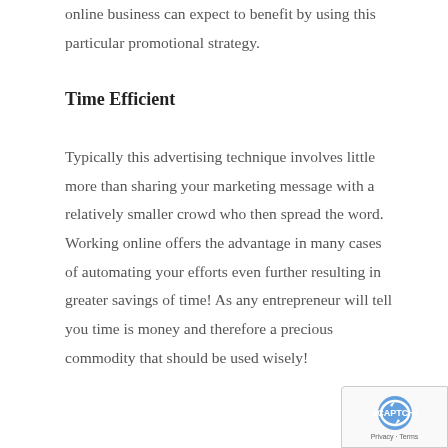online business can expect to benefit by using this particular promotional strategy.
Time Efficient
Typically this advertising technique involves little more than sharing your marketing message with a relatively smaller crowd who then spread the word. Working online offers the advantage in many cases of automating your efforts even further resulting in greater savings of time! As any entrepreneur will tell you time is money and therefore a precious commodity that should be used wisely!